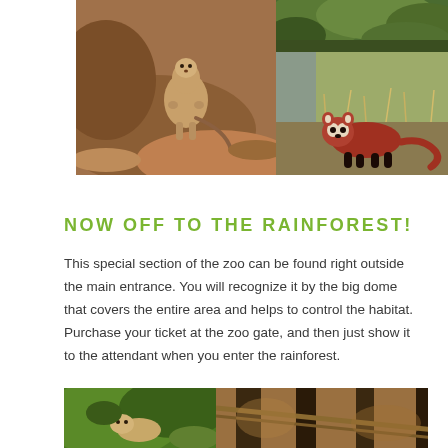[Figure (photo): Top photo collage: left side shows a meerkat or small mammal on reddish-brown dirt/rock surface; top right shows green foliage/zoo habitat; bottom right shows a red panda walking on ground with dry grass]
NOW OFF TO THE RAINFOREST!
This special section of the zoo can be found right outside the main entrance. You will recognize it by the big dome that covers the entire area and helps to control the habitat. Purchase your ticket at the zoo gate, and then just show it to the attendant when you enter the rainforest.
[Figure (photo): Bottom photo collage: left shows a small furry animal among green leaves; right shows tree trunks/branches with hanging rope in brown tones]